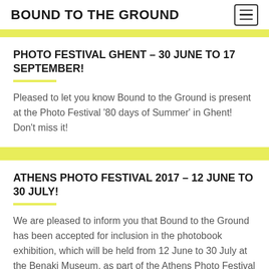BOUND TO THE GROUND
PHOTO FESTIVAL GHENT – 30 JUNE TO 17 SEPTEMBER!
Pleased to let you know Bound to the Ground is present at the Photo Festival '80 days of Summer' in Ghent! Don't miss it!
ATHENS PHOTO FESTIVAL 2017 – 12 JUNE TO 30 JULY!
We are pleased to inform you that Bound to the Ground has been accepted for inclusion in the photobook exhibition, which will be held from 12 June to 30 July at the Benaki Museum, as part of the Athens Photo Festival 2017.